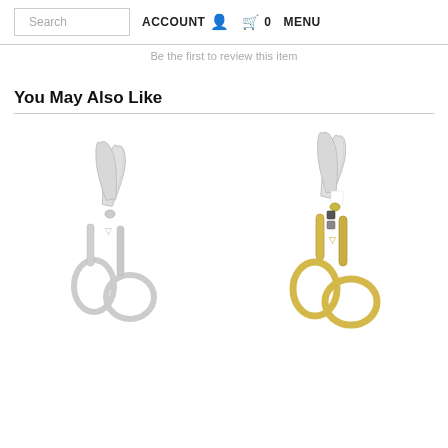Search  ACCOUNT  [cart] 0  MENU
Be the first to review this item
You May Also Like
[Figure (photo): Two pairs of small curved nail/cuticle scissors: one silver on the left, one gold on the right.]